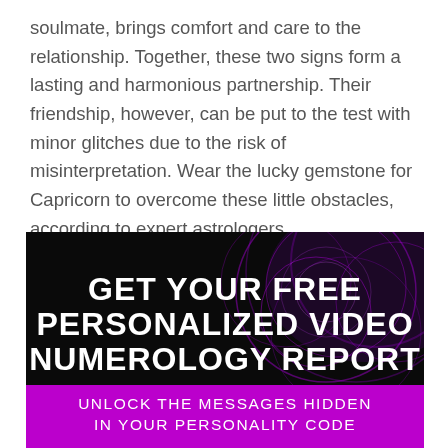soulmate, brings comfort and care to the relationship. Together, these two signs form a lasting and harmonious partnership. Their friendship, however, can be put to the test with minor glitches due to the risk of misinterpretation. Wear the lucky gemstone for Capricorn to overcome these little obstacles, according to expert astrologers.
[Figure (infographic): Dark banner advertisement with purple glowing orb graphics on black background. Bold white text reads 'GET YOUR FREE PERSONALIZED VIDEO NUMEROLOGY REPORT'. Below is a purple band with white text 'UNLOCK THE MESSAGES HIDDEN IN YOUR PERSONALITY CODE'.]